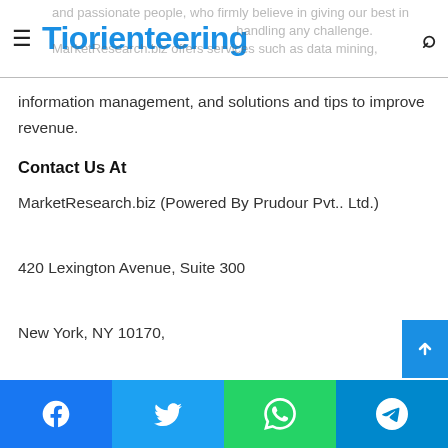Tiorienteering
and passionate people, who firmly believe in giving our best in every solution and handling any challenge. MarketResearch.biz offers services such as data mining, information management, and solutions and tips to improve revenue.
Contact Us At
MarketResearch.biz (Powered By Prudour Pvt.. Ltd.)
420 Lexington Avenue, Suite 300
New York, NY 10170,
United States
Facebook Twitter WhatsApp Telegram